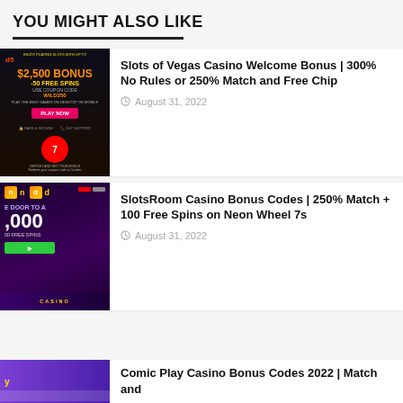YOU MIGHT ALSO LIKE
[Figure (photo): Casino advertisement image for Slots of Vegas showing $2,500 bonus and 50 free spins with PLAY NOW button]
Slots of Vegas Casino Welcome Bonus | 300% No Rules or 250% Match and Free Chip
August 31, 2022
[Figure (photo): SlotsRoom Casino advertisement showing door to a casino with $10,000 and 100 free spins offer]
SlotsRoom Casino Bonus Codes | 250% Match + 100 Free Spins on Neon Wheel 7s
August 31, 2022
[Figure (photo): Comic Play Casino partial advertisement banner in purple]
Comic Play Casino Bonus Codes 2022 | Match and